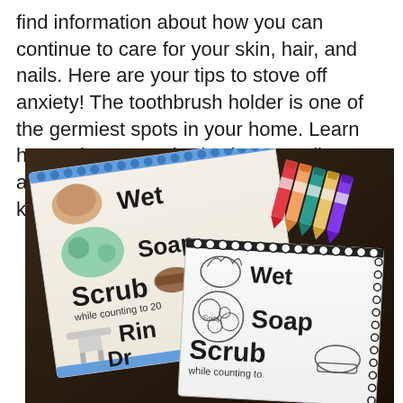find information about how you can continue to care for your skin, hair, and nails. Here are your tips to stove off anxiety! The toothbrush holder is one of the germiest spots in your home. Learn how to keep your body clean. Feeling anxious about sending your kid to kindergarten for the first time?
[Figure (photo): A photo taken from above of educational handwashing instruction worksheets laid on a dark wooden table. The worksheets show step-by-step handwashing steps with illustrated text reading 'Wet', 'Soap', 'Scrub while counting to 20', 'Rinse', 'Dry'. One worksheet appears colored and one is a black-and-white coloring version. A bundle of colorful crayons is visible in the upper right corner of the photo.]